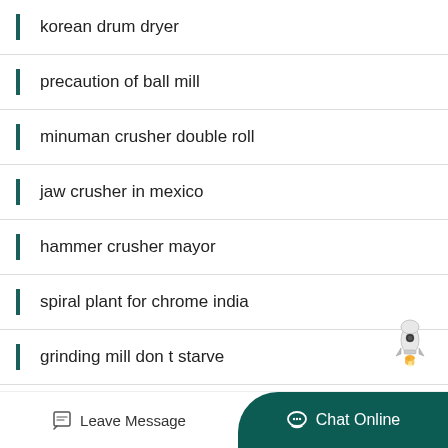korean drum dryer
precaution of ball mill
minuman crusher double roll
jaw crusher in mexico
hammer crusher mayor
spiral plant for chrome india
grinding mill don t starve
portable rock crushers for sale Tripura
Leave Message   Chat Online